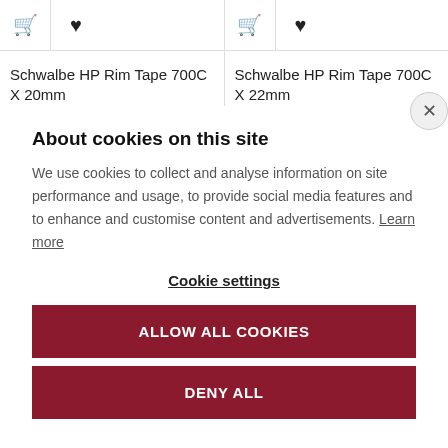Schwalbe HP Rim Tape 700C X 20mm
Schwalbe HP Rim Tape 700C X 22mm
About cookies on this site
We use cookies to collect and analyse information on site performance and usage, to provide social media features and to enhance and customise content and advertisements. Learn more
Cookie settings
ALLOW ALL COOKIES
DENY ALL